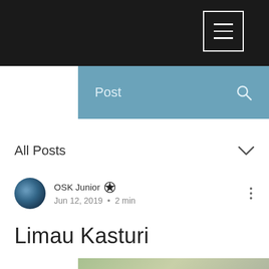Menu icon (hamburger) in top-right on dark header
Post
All Posts
OSK Junior  Jun 12, 2019 · 2 min
Limau Kasturi
[Figure (photo): Blurred green botanical image with blue circular floating action button showing three dots]